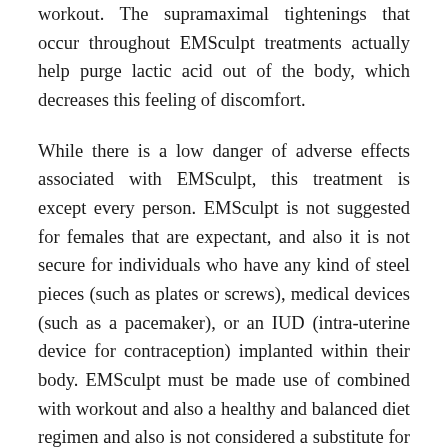workout. The supramaximal tightenings that occur throughout EMSculpt treatments actually help purge lactic acid out of the body, which decreases this feeling of discomfort.
While there is a low danger of adverse effects associated with EMSculpt, this treatment is except every person. EMSculpt is not suggested for females that are expectant, and also it is not secure for individuals who have any kind of steel pieces (such as plates or screws), medical devices (such as a pacemaker), or an IUD (intra-uterine device for contraception) implanted within their body. EMSculpt must be made use of combined with workout and also a healthy and balanced diet regimen and also is not considered a substitute for either one.
Intrigued in finding out more about the advantages of EMSculpt? Book an appointment at Mesotherapy...